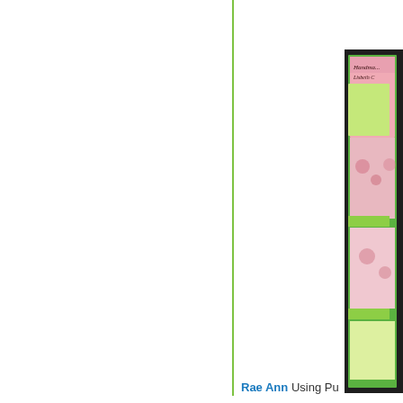[Figure (photo): A handmade card or scrapbook page displayed against a dark background. The card features pink and green colors with floral (rose) designs, pockets/envelopes, and cursive text reading 'Handmade' and 'Lisbeth C' visible at the top. The card has multiple layered sections with decorative paper.]
Rae Ann Using Pu